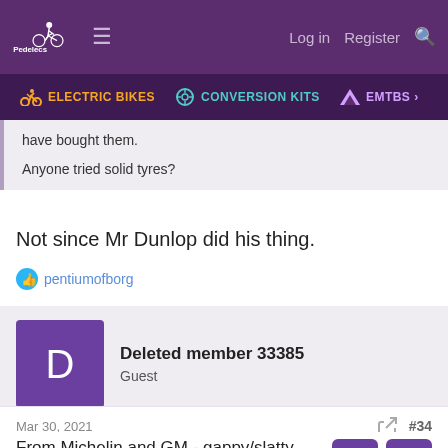Pedelecs — Log in  Register  [search]  ELECTRIC BIKES  CONVERSION KITS  EMTBS
have bought them.

Anyone tried solid tyres?
Not since Mr Dunlop did his thing.
pentiumofborg [liked]
Deleted member 33385
Guest
Mar 30, 2021  #34
From Michelin and GM - gappy/slatty solid tyres: